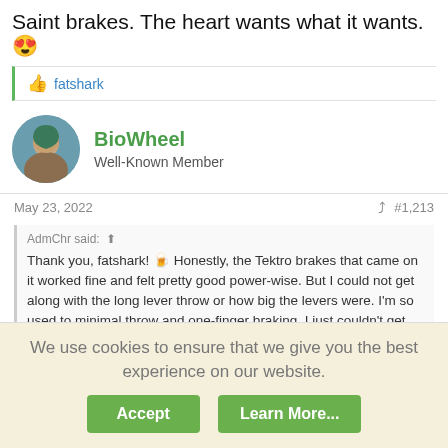Saint brakes. The heart wants what it wants. 😍
👍 fatshark
BioWheel
Well-Known Member
May 23, 2022   #1,213
AdmChr said: ↑

Thank you, fatshark! 🍺 Honestly, the Tektro brakes that came on it worked fine and felt pretty good power-wise. But I could not get along with the long lever throw or how big the levers were. I'm so used to minimal throw and one-finger braking, I just couldn't get used to them at all. Over the years I've tried so many other brakes from the highest level SRAM, Magura, Formula, etc. and I was never satisfied. So all of my bikes have SRAM drivetrains and Shimano XTR or Saint brakes.
We use cookies to ensure that we give you the best experience on our website.
Accept   Learn More...